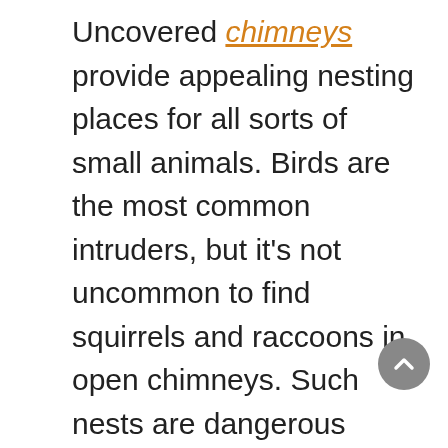Uncovered chimneys provide appealing nesting places for all sorts of small animals. Birds are the most common intruders, but it's not uncommon to find squirrels and raccoons in open chimneys. Such nests are dangerous because any kind of chimney obstruction can cause a smoke build-up inside your home, and the waste from these animals can harbor disease. And, of course, living above a functional fireplace isn't safe for the animals involved either. By capping your, chimney you're